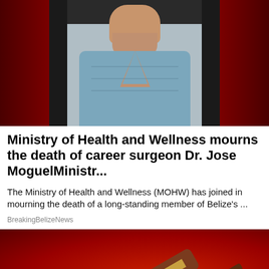[Figure (photo): Photo of a person wearing blue medical scrubs, seated in a dark chair, against a dark red background. Only the neck and torso area visible.]
Ministry of Health and Wellness mourns the death of career surgeon Dr. Jose MoguelMinistr...
The Ministry of Health and Wellness (MOHW) has joined in mourning the death of a long-standing member of Belize's ...
BreakingBelizeNews
[Figure (photo): Photo of a judge's gavel on a wooden base and a military dog tag on a chain, set against a bright red background.]